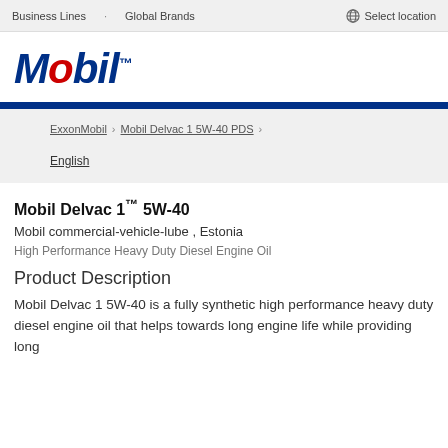Business Lines   Global Brands   Select location
[Figure (logo): Mobil logo in blue bold italic text with red 'o']
ExxonMobil > Mobil Delvac 1 5W-40 PDS >
English
Mobil Delvac 1™ 5W-40
Mobil commercial-vehicle-lube , Estonia
High Performance Heavy Duty Diesel Engine Oil
Product Description
Mobil Delvac 1 5W-40 is a fully synthetic high performance heavy duty diesel engine oil that helps towards long engine life while providing long